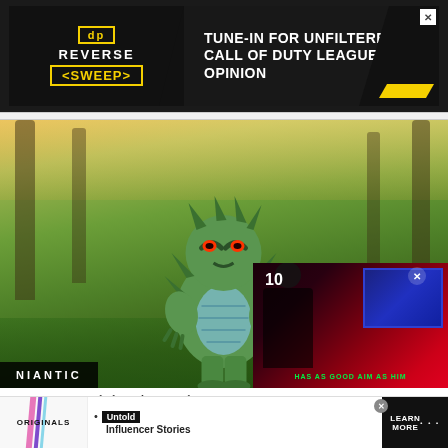[Figure (screenshot): Advertisement banner for 'Reverse Sweep' show: dark background with yellow logo text and 'TUNE-IN FOR UNFILTERED CALL OF DUTY LEAGUE OPINION' in white bold uppercase text]
[Figure (photo): Tyranitar, a green pseudo-legendary Pokemon, displayed in augmented reality against a forest background. Niantic label in bottom-left corner. Embedded video overlay in bottom-right showing esports players with text 'HAS AS GOOD AIM AS HIM' in green.]
Tyranitar is a pseudo-legendary in Pokemon Go
[Figure (screenshot): Bottom advertisement bar with Originals logo on left, bullet point 'Untold Influencer Stories' in center, and 'LEARN MORE' button on right]